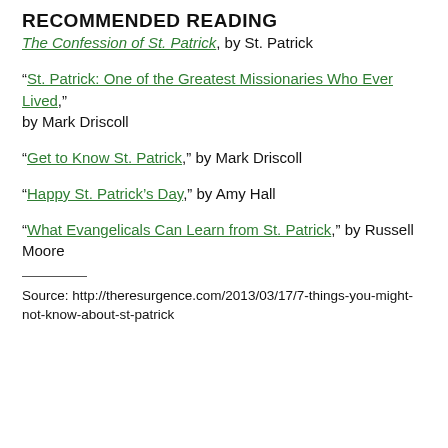RECOMMENDED READING
The Confession of St. Patrick, by St. Patrick
“St. Patrick: One of the Greatest Missionaries Who Ever Lived,” by Mark Driscoll
“Get to Know St. Patrick,” by Mark Driscoll
“Happy St. Patrick’s Day,” by Amy Hall
“What Evangelicals Can Learn from St. Patrick,” by Russell Moore
Source: http://theresurgence.com/2013/03/17/7-things-you-might-not-know-about-st-patrick